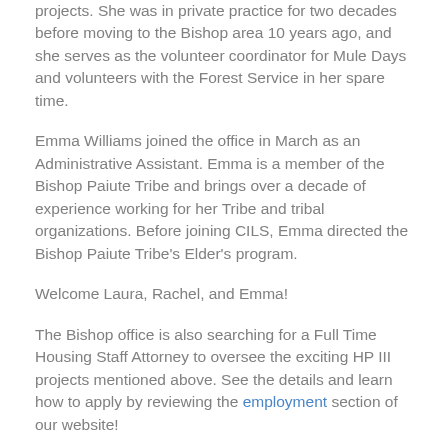projects. She was in private practice for two decades before moving to the Bishop area 10 years ago, and she serves as the volunteer coordinator for Mule Days and volunteers with the Forest Service in her spare time.
Emma Williams joined the office in March as an Administrative Assistant. Emma is a member of the Bishop Paiute Tribe and brings over a decade of experience working for her Tribe and tribal organizations. Before joining CILS, Emma directed the Bishop Paiute Tribe's Elder's program.
Welcome Laura, Rachel, and Emma!
The Bishop office is also searching for a Full Time Housing Staff Attorney to oversee the exciting HP III projects mentioned above. See the details and learn how to apply by reviewing the employment section of our website!